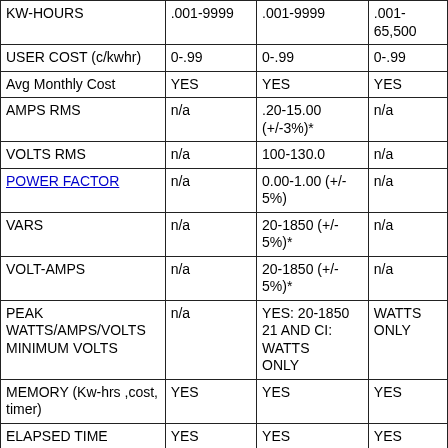| KW-HOURS | .001-9999 | .001-9999 | .001-
65,500 |
| USER COST (c/kwhr) | 0-.99 | 0-.99 | 0-.99 |
| Avg Monthly Cost | YES | YES | YES |
| AMPS RMS | n/a | .20-15.00 (+/-3%)* | n/a |
| VOLTS RMS | n/a | 100-130.0 | n/a |
| POWER FACTOR | n/a | 0.00-1.00 (+/-5%) | n/a |
| VARS | n/a | 20-1850 (+/-5%)* | n/a |
| VOLT-AMPS | n/a | 20-1850 (+/-5%)* | n/a |
| PEAK WATTS/AMPS/VOLTS MINIMUM VOLTS | n/a | YES: 20-1850 21 AND CI: WATTS ONLY | WATTS ONLY |
| MEMORY (Kw-hrs ,cost, timer) | YES | YES | YES |
| ELAPSED TIME | YES | YES | YES |
| ACCURACY
(accept as noted) | +/- 2% +/- 2 lsd | +/- 1.5%  +/-2 lsd | +/- 2% +/- 2 lsd |